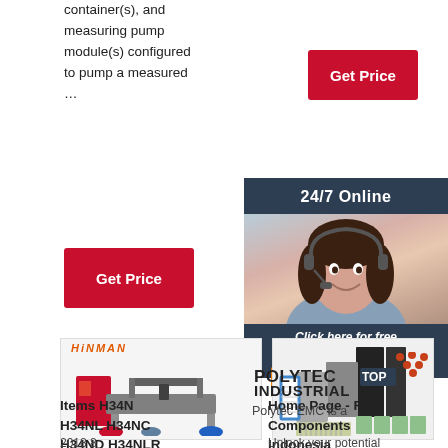container(s), and measuring pump module(s) configured to pump a measured …
[Figure (screenshot): Red 'Get Price' button, top right]
[Figure (screenshot): 24/7 Online customer service banner with woman wearing headset, 'Click here for free chat!' and orange QUOTATION button]
[Figure (screenshot): Red 'Get Price' button, left column]
[Figure (photo): Winman brand CNC machine product image]
[Figure (photo): Air filters product image (various HEPA and panel filters)]
Items H34N H34NL H34NC H34ND H34NLR
2018 8
Home Page - RS Components Indonesia
Unlock your potential
POLYTEC INDUSTRIAL
Polytec EMC is a